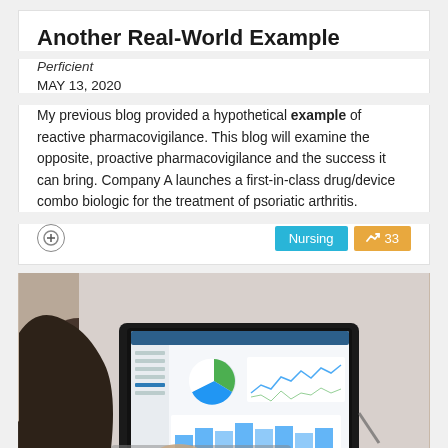Another Real-World Example
Perficient
MAY 13, 2020
My previous blog provided a hypothetical example of reactive pharmacovigilance. This blog will examine the opposite, proactive pharmacovigilance and the success it can bring. Company A launches a first-in-class drug/device combo biologic for the treatment of psoriatic arthritis.
[Figure (photo): Person sitting at a laptop displaying a dashboard with pie charts, line charts, and bar charts on the screen]